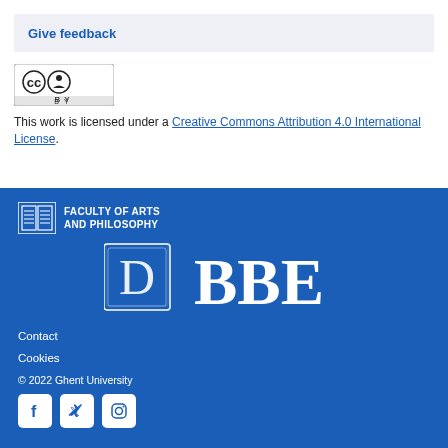Give feedback
[Figure (logo): Creative Commons CC BY license badge]
This work is licensed under a Creative Commons Attribution 4.0 International License.
[Figure (logo): Faculty of Arts and Philosophy logo with book icon]
[Figure (logo): DBBE logo with ornate D letter and BBE text in white on blue]
Contact
Cookies
© 2022 Ghent University
[Figure (other): Social media icons: Facebook, Twitter, Instagram]